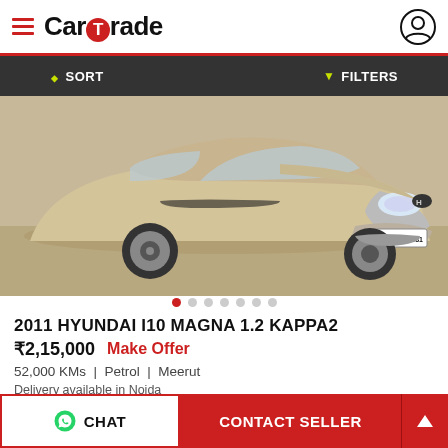CarTrade
SORT   FILTERS
[Figure (photo): Beige/champagne colored Hyundai i10 car with license plate UP 16AC4581, parked on a dry ground surface, shot from front-left angle]
2011 HYUNDAI I10 MAGNA 1.2 KAPPA2
₹2,15,000  Make Offer
52,000 KMs  |  Petrol  |  Meerut
Delivery available in Noida
CHAT   CONTACT SELLER